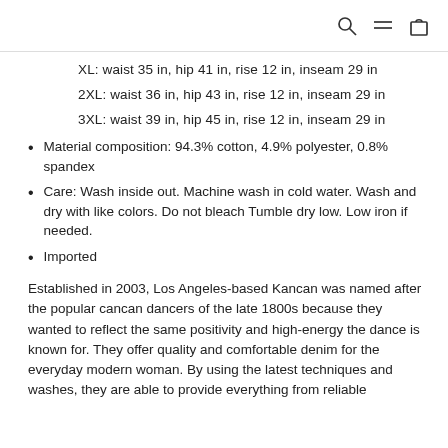[icons: search, menu, cart]
XL: waist 35 in, hip 41 in, rise 12 in, inseam 29 in
2XL: waist 36 in, hip 43 in, rise 12 in, inseam 29 in
3XL: waist 39 in, hip 45 in, rise 12 in, inseam 29 in
Material composition: 94.3% cotton, 4.9% polyester, 0.8% spandex
Care: Wash inside out. Machine wash in cold water. Wash and dry with like colors. Do not bleach Tumble dry low. Low iron if needed.
Imported
Established in 2003, Los Angeles-based Kancan was named after the popular cancan dancers of the late 1800s because they wanted to reflect the same positivity and high-energy the dance is known for. They offer quality and comfortable denim for the everyday modern woman. By using the latest techniques and washes, they are able to provide everything from reliable